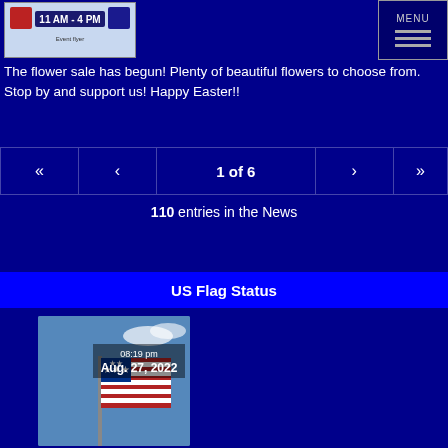[Figure (photo): Event flyer showing '11 AM - 4 PM' with logos and decorative elements]
MENU
The flower sale has begun! Plenty of beautiful flowers to choose from. Stop by and support us! Happy Easter!!
« < 1 of 6 > »
110 entries in the News
US Flag Status
[Figure (photo): US Flag photo with date/time overlay showing 08:19 pm Aug. 27, 2022]